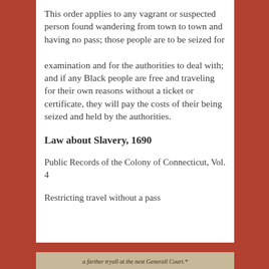This order applies to any vagrant or suspected person found wandering from town to town and having no pass; those people are to be seized for examination and for the authorities to deal with; and if any Black people are free and traveling for their own reasons without a ticket or certificate, they will pay the costs of their being seized and held by the authorities.
Law about Slavery, 1690
Public Records of the Colony of Connecticut, Vol. 4
Restricting travel without a pass
a farther tryall at the next Generall Court.*